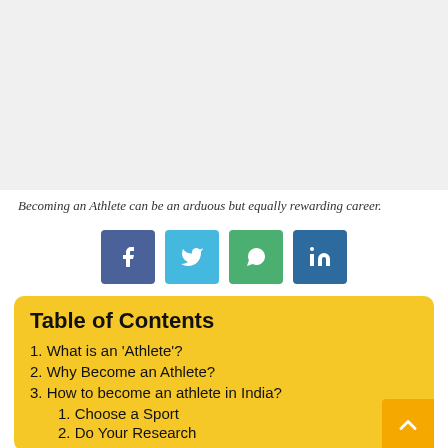[Figure (photo): Placeholder image area for an athlete-related photograph, light gray background]
Becoming an Athlete can be an arduous but equally rewarding career.
[Figure (infographic): Social media sharing buttons: Facebook (blue), Twitter (light blue), WhatsApp (green), LinkedIn (dark blue)]
Table of Contents
1. What is an 'Athlete'?
2. Why Become an Athlete?
3. How to become an athlete in India?
1. Choose a Sport
2. Do Your Research